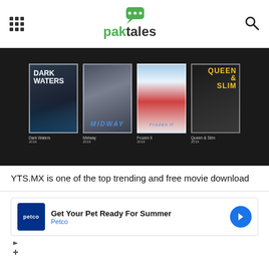paktales
[Figure (screenshot): Movie browsing interface showing four movie posters: Dark Waters (2019), Midway (2019), Frozen II (2019), Queen & Slim (2019) on a dark background]
YTS.MX is one of the top trending and free movie download
[Figure (other): Advertisement banner: Get Your Pet Ready For Summer - Petco]